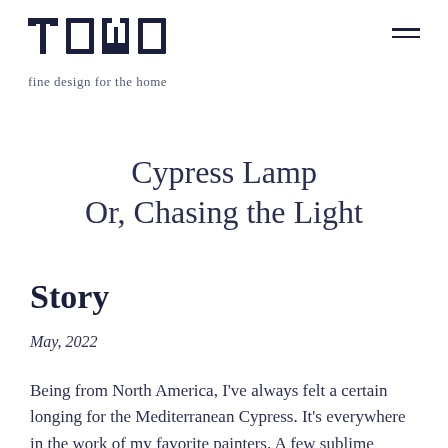[Figure (logo): TOMO logo with stylized letters, fine design for the home tagline]
Cypress Lamp
Or, Chasing the Light
Story
May, 2022
Being from North America, I've always felt a certain longing for the Mediterranean Cypress. It's everywhere in the work of my favorite painters. A few sublime examples: